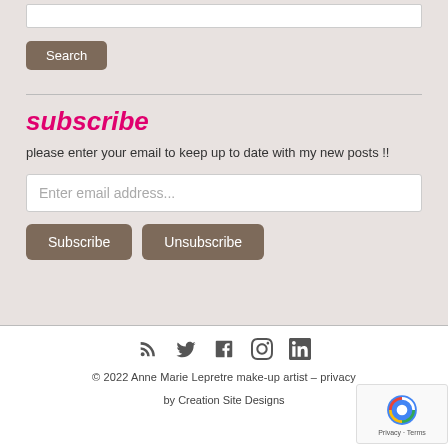[Figure (screenshot): Search input box (white rectangle at top)]
Search
subscribe
please enter your email to keep up to date with my new posts !!
Enter email address...
Subscribe
Unsubscribe
© 2022 Anne Marie Lepretre make-up artist – privacy
by Creation Site Designs
Ba...